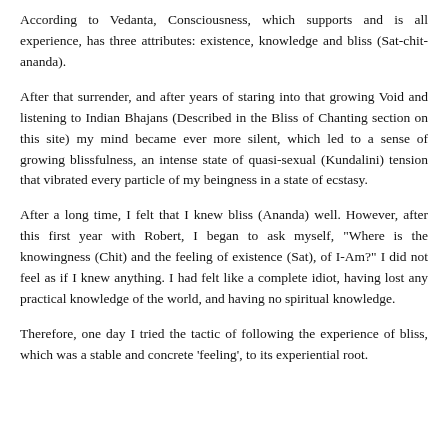According to Vedanta, Consciousness, which supports and is all experience, has three attributes: existence, knowledge and bliss (Sat-chit-ananda).
After that surrender, and after years of staring into that growing Void and listening to Indian Bhajans (Described in the Bliss of Chanting section on this site) my mind became ever more silent, which led to a sense of growing blissfulness, an intense state of quasi-sexual (Kundalini) tension that vibrated every particle of my beingness in a state of ecstasy.
After a long time, I felt that I knew bliss (Ananda) well. However, after this first year with Robert, I began to ask myself, "Where is the knowingness (Chit) and the feeling of existence (Sat), of I-Am?" I did not feel as if I knew anything. I had felt like a complete idiot, having lost any practical knowledge of the world, and having no spiritual knowledge.
Therefore, one day I tried the tactic of following the experience of bliss, which was a stable and concrete 'feeling', to its experiential root.